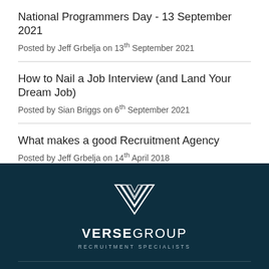National Programmers Day - 13 September 2021
Posted by Jeff Grbelja on 13th September 2021
How to Nail a Job Interview (and Land Your Dream Job)
Posted by Sian Briggs on 6th September 2021
What makes a good Recruitment Agency
Posted by Jeff Grbelja on 14th April 2018
[Figure (logo): Verse Group Recruitment Specialists logo — white geometric double-V chevron icon above VERSEGROUP text and RECRUITMENT SPECIALISTS tagline on dark teal background]